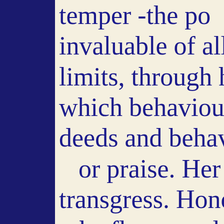[Figure (illustration): Decorative left border with dark navy blue background and two columns of gold floral/daisy ornaments repeating vertically]
temper -the po invaluable of all limits, through h which behaviour i deeds and behavio or praise. Her transgress. Honou the flower or lot come. Since th